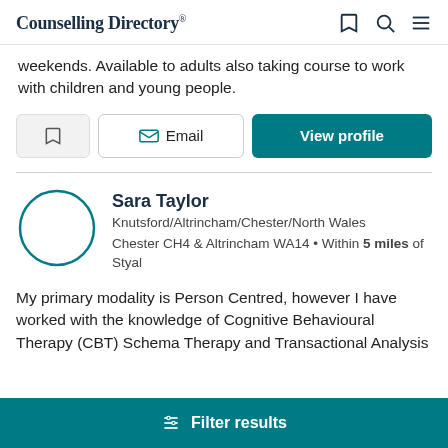Counselling Directory
weekends. Available to adults also taking course to work with children and young people.
Sara Taylor
Knutsford/Altrincham/Chester/North Wales
Chester CH4 & Altrincham WA14 • Within 5 miles of Styal
My primary modality is Person Centred, however I have worked with the knowledge of Cognitive Behavioural Therapy (CBT) Schema Therapy and Transactional Analysis
Filter results